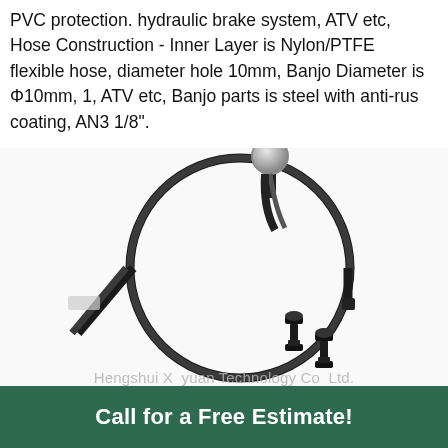PVC protection. hydraulic brake system, ATV etc, Hose Construction - Inner Layer is Nylon/PTFE flexible hose, diameter hole 10mm, Banjo Diameter is Φ10mm, 1, ATV etc, Banjo parts is steel with anti-rus coating, AN3 1/8".
[Figure (photo): A black hydraulic brake hose coiled in a circle with a banjo fitting at one end (silver metal ball-end connector) and two black banjo bolts/hardware pieces placed below the coil. Watermark text reads: Hengshui Xinyuan Technology Co., Ltd.]
Call for a Free Estimate!